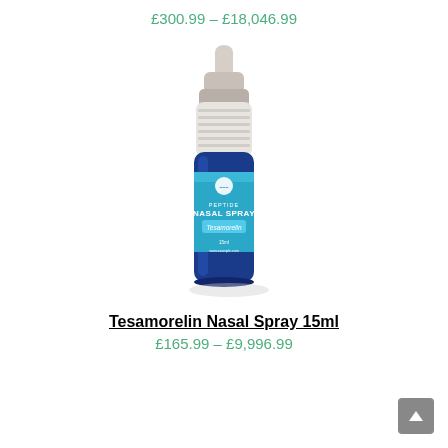£300.99 – £18,046.99
[Figure (photo): Blue glass nasal spray bottle with white pump cap labeled 'Peptide Nasal Spray Tesamorelin']
Tesamorelin Nasal Spray 15ml
£165.99 – £9,996.99